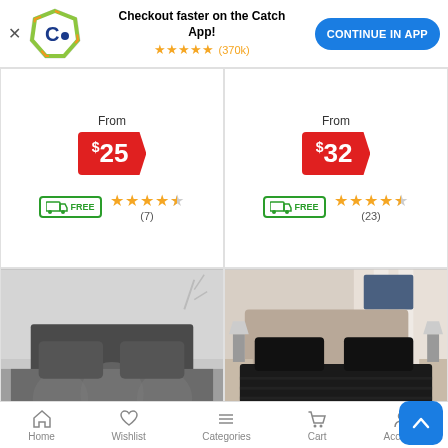[Figure (screenshot): Catch.com.au app banner with logo, text 'Checkout faster on the Catch App!', star rating 5 stars (370k), and CONTINUE IN APP button]
From $25
[Figure (infographic): Free shipping truck icon with star rating 4.5 stars (7 reviews)]
From $32
[Figure (infographic): Free shipping truck icon with star rating 4.5 stars (23 reviews)]
[Figure (photo): Stone circle ruched bedding set in dark grey/charcoal on a bed]
Stone Circle Ruched
[Figure (photo): Black soft quilt doona cover set on a bed in a modern bedroom]
Black Soft Quilt Doona
Home  Wishlist  Categories  Cart  Account